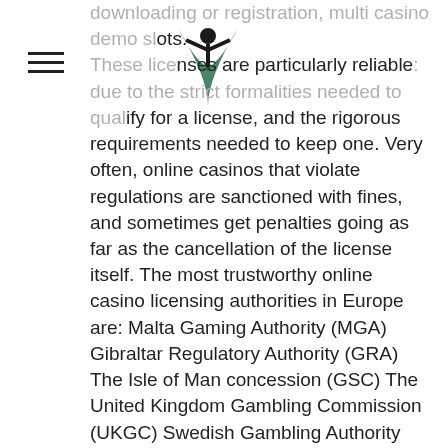[Figure (logo): A stylized logo showing a person with arms raised inside a V-shaped leaf/wing design, in dark color]
downloading or registration, multi casino demo slots. These licenses are particularly reliable: due to the strict formalities needed to qualify for a license, and the rigorous requirements needed to keep one. Very often, online casinos that violate regulations are sanctioned with fines, and sometimes get penalties going as far as the cancellation of the license itself. The most trustworthy online casino licensing authorities in Europe are: Malta Gaming Authority (MGA) Gibraltar Regulatory Authority (GRA) The Isle of Man concession (GSC) The United Kingdom Gambling Commission (UKGC) Swedish Gambling Authority (SGA) Netherlands Gambling Authority (KSA) ICLG- Gambling Laws and Regulations in Spain Schleswig-Holstein in Germany, game hunters huuuge casino. The role of regulatory authorities is to ensure the proper functioning and transparency of the online gaming industry.